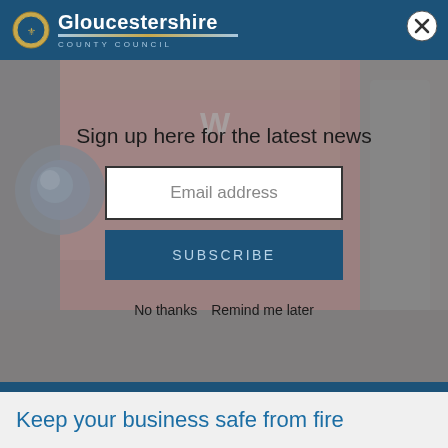Gloucestershire County Council
Sign up here for the latest news
Email address
SUBSCRIBE
No thanks   Remind me later
[Figure (photo): Close-up photo of a red fire engine with text 'FLT 1701' and blue emergency lights visible]
Keep your business safe from fire